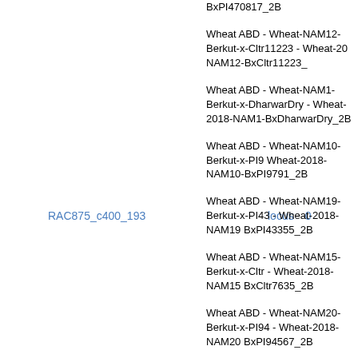RAC875_c400_193    locus  0
BxPI470817_2B
Wheat ABD - Wheat-NAM12-Berkut-x-Cltr11223 - Wheat-20 NAM12-BxCltr11223_
Wheat ABD - Wheat-NAM1-Berkut-x-DharwarDry - Wheat-2018-NAM1-BxDharwarDry_2B
Wheat ABD - Wheat-NAM10-Berkut-x-PI9 Wheat-2018-NAM10-BxPI9791_2B
Wheat ABD - Wheat-NAM19-Berkut-x-PI43 - Wheat-2018-NAM19 BxPI43355_2B
Wheat ABD - Wheat-NAM15-Berkut-x-Cltr - Wheat-2018-NAM15 BxCltr7635_2B
Wheat ABD - Wheat-NAM20-Berkut-x-PI94 - Wheat-2018-NAM20 BxPI94567_2B